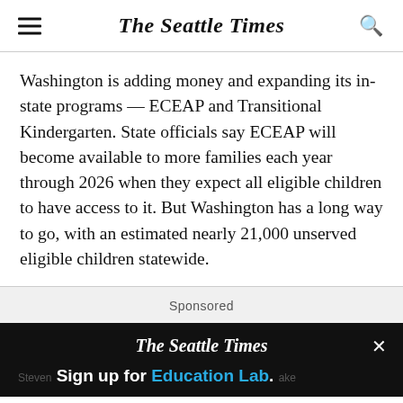The Seattle Times
Washington is adding money and expanding its in-state programs — ECEAP and Transitional Kindergarten. State officials say ECEAP will become available to more families each year through 2026 when they expect all eligible children to have access to it. But Washington has a long way to go, with an estimated nearly 21,000 unserved eligible children statewide.
Sponsored
The Seattle Times — Sign up for Education Lab.